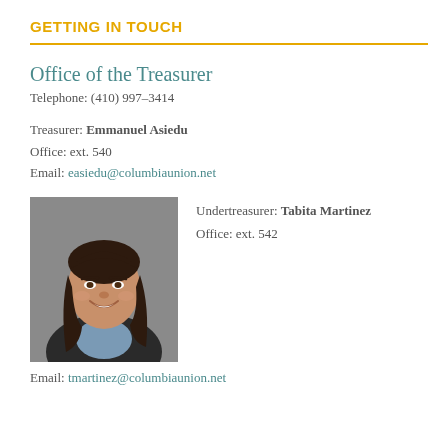GETTING IN TOUCH
Office of the Treasurer
Telephone: (410) 997–3414
Treasurer: Emmanuel Asiedu
Office: ext. 540
Email: easiedu@columbiaunion.net
[Figure (photo): Professional headshot of Tabita Martinez, a woman with long dark hair wearing a dark blazer and blue shirt, smiling, against a grey background]
Undertreasurer: Tabita Martinez
Office: ext. 542
Email: tmartinez@columbiaunion.net